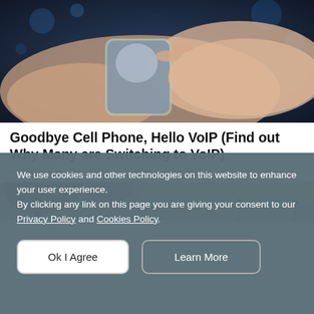[Figure (photo): Hands holding a smartphone with a light green case against a dark blue digital/tech background with light bokeh effects.]
Goodbye Cell Phone, Hello VoIP (Find out Why Many are Switching to VoIP)
VoIP | Search Ads
[Figure (photo): Partially visible outdoor scene with trees and structures, cropped at bottom of visible area before cookie overlay.]
We use cookies and other technologies on this website to enhance your user experience.
By clicking any link on this page you are giving your consent to our Privacy Policy and Cookies Policy.
Ok I Agree
Learn More